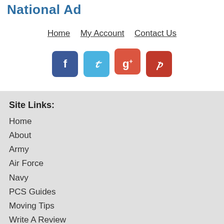National Ad
Home | My Account | Contact Us
[Figure (infographic): Social media icon buttons: Facebook (blue), Twitter (light blue), Google+ (orange-red), Pinterest (red)]
Site Links:
Home
About
Army
Air Force
Navy
PCS Guides
Moving Tips
Write A Review
Additional Info: